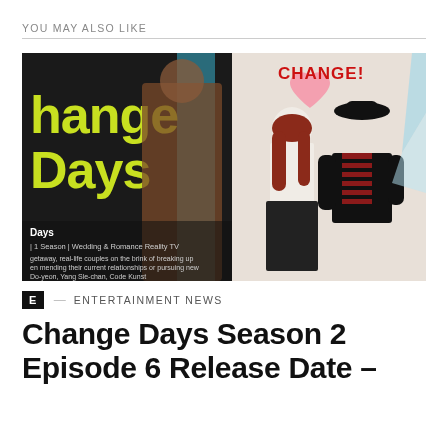YOU MAY ALSO LIKE
[Figure (illustration): Promotional image for Change Days TV show. Left side shows dark background with yellow text 'hange Days' and overlaid with a man in a brown jacket. Right side shows an illustrated couple — a woman in white top and black skirt, and a man in a black hat and striped shirt — plus a pink heart with red text 'CHANGE!' above them. Show metadata overlaid on the bottom left: 'Days', '1 Season | Wedding & Romance Reality TV', partial description about couples on the brink of breaking up, and cast names including Do-yeon, Yang Sle-chan, Code Kunst.]
E — ENTERTAINMENT NEWS
Change Days Season 2 Episode 6 Release Date –